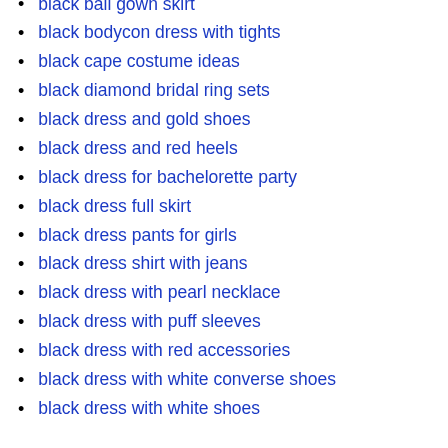black ball gown skirt
black bodycon dress with tights
black cape costume ideas
black diamond bridal ring sets
black dress and gold shoes
black dress and red heels
black dress for bachelorette party
black dress full skirt
black dress pants for girls
black dress shirt with jeans
black dress with pearl necklace
black dress with puff sleeves
black dress with red accessories
black dress with white converse shoes
black dress with white shoes